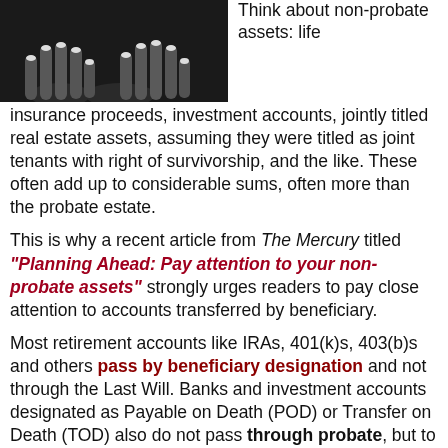[Figure (photo): Black and white photo of hands with manicured nails resting on a dark surface.]
Think about non-probate assets: life insurance proceeds, investment accounts, jointly titled real estate assets, assuming they were titled as joint tenants with right of survivorship, and the like. These often add up to considerable sums, often more than the probate estate.
This is why a recent article from The Mercury titled "Planning Ahead: Pay attention to your non-probate assets" strongly urges readers to pay close attention to accounts transferred by beneficiary.
Most retirement accounts like IRAs, 401(k)s, 403(b)s and others pass by beneficiary designation and not through the Last Will. Banks and investment accounts designated as Payable on Death (POD) or Transfer on Death (TOD) also do not pass through probate, but to the other person named on the account. Any property owned by a trust does not go through probate, one of the reasons it is placed in the trust.